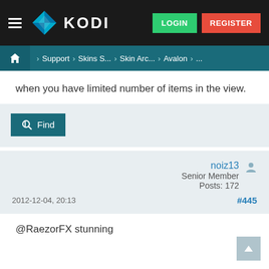KODI — LOGIN | REGISTER
Home > Support > Skins S... > Skin Arc... > Avalon > ...
when you have limited number of items in the view.
Find
noiz13  Senior Member  Posts: 172  2012-12-04, 20:13  #445
@RaezorFX stunning